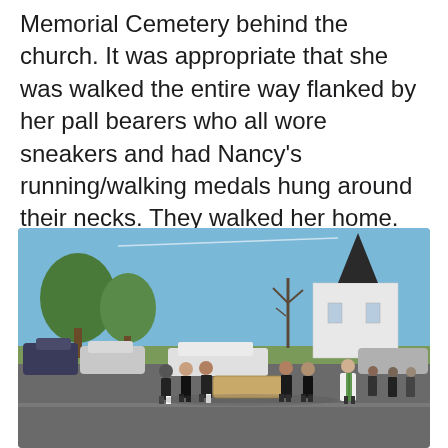Memorial Cemetery behind the church. It was appropriate that she was walked the entire way flanked by her pall bearers who all wore sneakers and had Nancy's running/walking medals hung around their necks. They walked her home.
[Figure (photo): Outdoor funeral procession photo showing pallbearers carrying a casket across a parking lot, with a white church with a dark steeple visible in the background, trees, parked cars, mourners following behind, and a clergy member in white robes and green stole on the right side. Clear blue sky, autumn setting.]